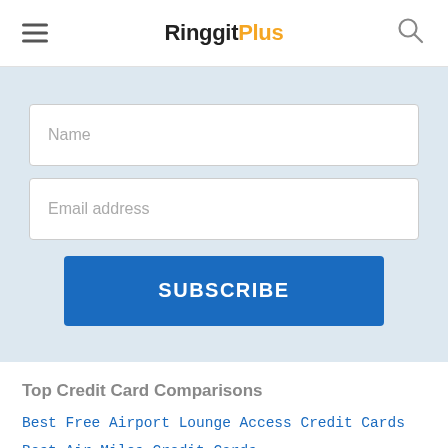RinggitPlus
Name
Email address
SUBSCRIBE
Top Credit Card Comparisons
Best Free Airport Lounge Access Credit Cards
Best Air Miles Credit Cards
All Maybank Credit Cards
All Citibank Credit Cards